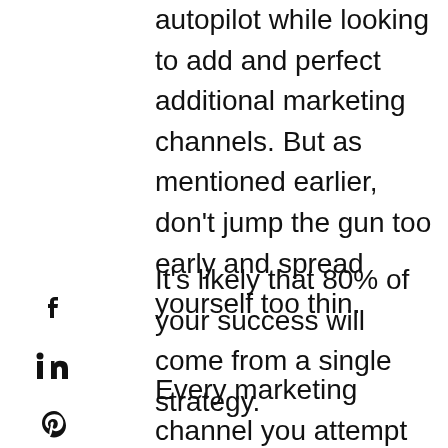autopilot while looking to add and perfect additional marketing channels. But as mentioned earlier, don't jump the gun too early and spread yourself too thin.
It's likely that 80% of your success will come from a single strategy.
Every marketing channel you attempt deserves your full attention for this reason. Don't be surprised if some of your marketing activities just aren't working as well as you hope.